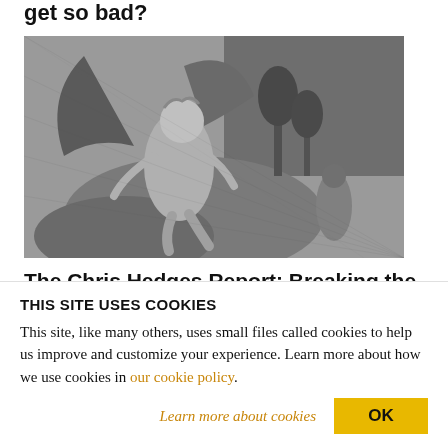get so bad?
[Figure (illustration): Black and white engraving of a winged devil/demon figure sitting on rocks with a smaller hooded figure in the background, classical style illustration.]
The Chris Hedges Report: Breaking the cycle of...
THIS SITE USES COOKIES
This site, like many others, uses small files called cookies to help us improve and customize your experience. Learn more about how we use cookies in our cookie policy.
Learn more about cookies   OK